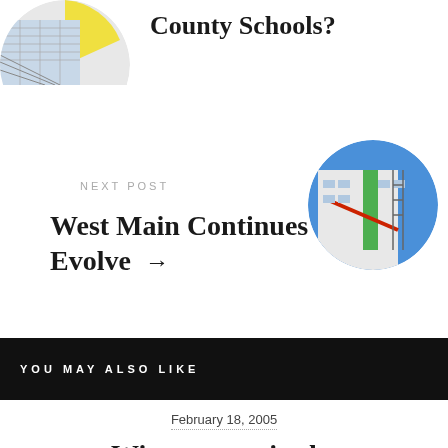[Figure (illustration): Partial circular cropped image of a chart/spreadsheet with yellow and blue colors, shown in upper left corner]
County Schools?
NEXT POST
West Main Continues to Evolve →
[Figure (photo): Circular cropped photo of a modern building under construction or renovation with blue sky, white and green facade]
YOU MAY ALSO LIKE
February 18, 2005
Wintergreen in the Washington Post